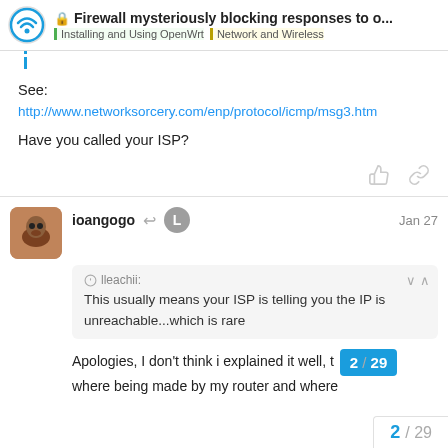Firewall mysteriously blocking responses to o... | Installing and Using OpenWrt | Network and Wireless
See:
http://www.networksorcery.com/enp/protocol/icmp/msg3.htm
Have you called your ISP?
ioangogo  Jan 27
lleachii:
This usually means your ISP is telling you the IP is unreachable...which is rare
Apologies, I don't think i explained it well, t... where being made by my router and where...